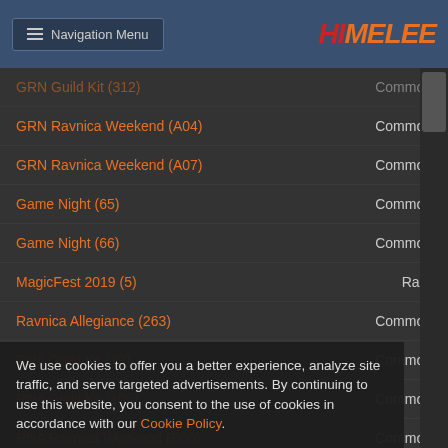Navigation Menu | HIMELEE
GRN Ravnica Weekend (A04) — Common
GRN Ravnica Weekend (A07) — Common
Game Night (65) — Common
Game Night (66) — Common
MagicFest 2019 (5) — Rare
Ravnica Allegiance (263) — Common
RNA Guild Kit (79) — Common
RNA Guild Kit (105) — Common
RNA Ravnica Weekend (B06) — Common
RNA Ravnica Weekend (B07) — Common
War of the Spark (259) — Common
War of the Spark (260) — Common
War of the Spark (261) — Common
War of the Spark (262) — Rare (clipped by cookie banner)
Core Set 2020 (274) — Common
Core Set 2020 (275) — Common
Core Set 2020 (276) — Common
We use cookies to offer you a better experience, analyze site traffic, and serve targeted advertisements. By continuing to use this website, you consent to the use of cookies in accordance with our Cookie Policy.